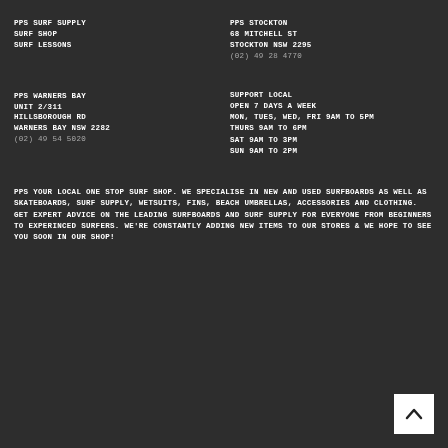PPS SURF SUPPLY
SURF SHOP
SURF LESSONS
PPS STOCKTON
68 MITCHELL ST
STOCKTON NSW 2295
(02) 49 28 4770
PPS WARNERS BAY
UNIT 2/311
HILLSBOROUGH RD
WARNERS BAY NSW 2282
(02) 49 54 5020
SUPPORT LOCAL
OPEN 7 DAYS A WEEK
MON, TUES, WED, FRI 9AM TO 5PM
THURS 9AM TO 6PM
SAT 9AM TO 3PM
SUN 9AM TO 2PM
PPS YOUR LOCAL ONE STOP SURF SHOP. WE SPECIALISE IN NEW AND USED SURFBOARDS AS WELL AS SKATEBOARDS, SURF SUPPLY, WETSUITS, FINS, BEACH UMBRELLAS, ACCESSORIES AND CLOTHING. GET EXPERT ADVICE ON THE LEADING SURFBOARDS AND SURF SUPPLY FOR EVERYONE FROM BEGINNERS TO EXPERINCED SURFERS. WE'RE CONSTANTLY ADDING NEW ITEMS TO OUR STORES & WE HOPE TO SEE YOU SOON IN OUR SHOP!